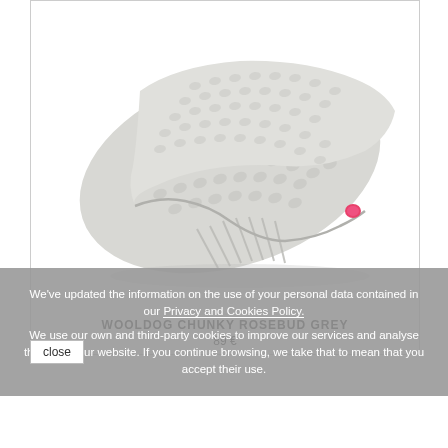[Figure (photo): Grey chunky knit scarf folded, with a small pink logo tag visible on the edge, photographed on white background]
WOOLDOG CHUNKY ROSEBUD GREY
89 €
We've updated the information on the use of your personal data contained in our Privacy and Cookies Policy. We use our own and third-party cookies to improve our services and analyse the use of our website. If you continue browsing, we take that to mean that you accept their use.
close